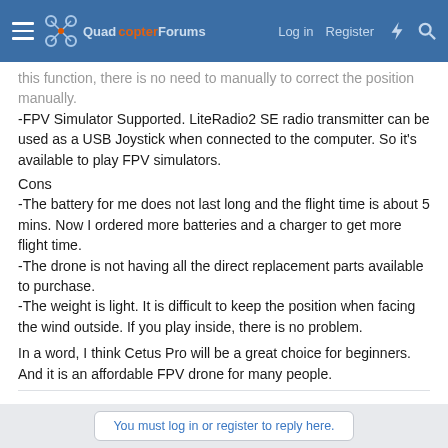QuadcopterForums — Log in | Register
this function, there is no need to manually to correct the position manually.
-FPV Simulator Supported. LiteRadio2 SE radio transmitter can be used as a USB Joystick when connected to the computer. So it's available to play FPV simulators.
Cons
-The battery for me does not last long and the flight time is about 5 mins. Now I ordered more batteries and a charger to get more flight time.
-The drone is not having all the direct replacement parts available to purchase.
-The weight is light. It is difficult to keep the position when facing the wind outside. If you play inside, there is no problem.
In a word, I think Cetus Pro will be a great choice for beginners. And it is an affordable FPV drone for many people.
You must log in or register to reply here.